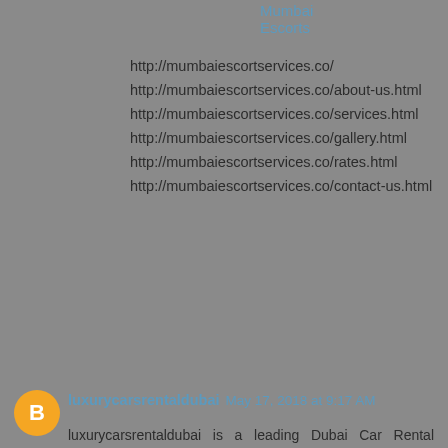Mumbai Escorts
http://mumbaiescortservices.co/
http://mumbaiescortservices.co/about-us.html
http://mumbaiescortservices.co/services.html
http://mumbaiescortservices.co/gallery.html
http://mumbaiescortservices.co/rates.html
http://mumbaiescortservices.co/contact-us.html
Reply
luxurycarsrentaldubai May 17, 2018 at 9:17 AM
luxurycarsrentaldubai is a leading Dubai Car Rental company offering services of Car Hire with Driver in Dubai. For more details please visit http://www.luxurycarsrentaldubai.co/
Luxury Cars Rental Dubai
Luxury Car Rental Dubai